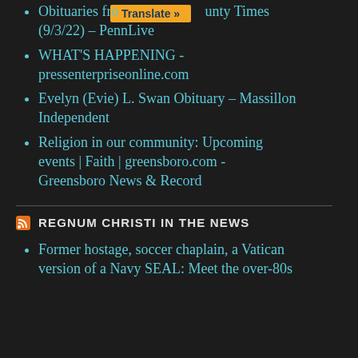Obituaries from [County] County Times (9/3/22) – PennLive
WHAT'S HAPPENING - pressenterpriseonline.com
Evelyn (Evie) L. Swan Obituary - Massillon Independent
Religion in our community: Upcoming events | Faith | greensboro.com - Greensboro News & Record
REGNUM CHRISTI IN THE NEWS
Former hostage, soccer chaplain, a Vatican version of a Navy SEAL: Meet the over-80s